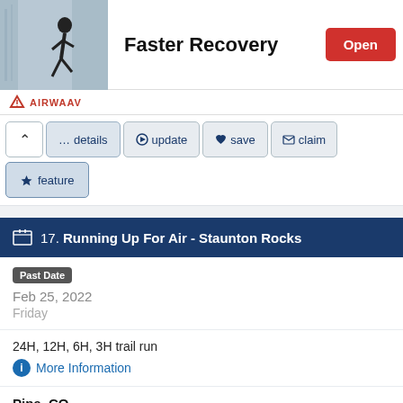[Figure (photo): Person running, shown in athletic wear against blue/grey background]
Faster Recovery
Open
AIRWAAV
... details
update
save
claim
feature
17. Running Up For Air - Staunton Rocks
Past Date
Feb 25, 2022
Friday
24H, 12H, 6H, 3H trail run
More Information
Pine, CO
City Location